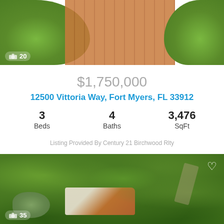[Figure (photo): Aerial photo of a garden with green grass on the left and brick/paver pathway on the right, with a camera icon and count '20' in the bottom-left corner]
$1,750,000
12500 Vittoria Way, Fort Myers, FL 33912
3 Beds   4 Baths   3,476 SqFt
Listing Provided By Century 21 Birchwood Rlty
[Figure (photo): Aerial drone photo of a large property with a house featuring a red-orange tile roof surrounded by dense trees, with a pond in the lower left, and a heart icon in the upper right. Camera icon and count '35' in the bottom-left corner.]